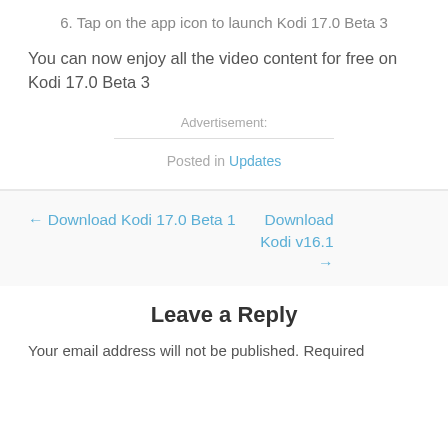6. Tap on the app icon to launch Kodi 17.0 Beta 3
You can now enjoy all the video content for free on Kodi 17.0 Beta 3
Advertisement:
Posted in Updates
← Download Kodi 17.0 Beta 1
Download Kodi v16.1 →
Leave a Reply
Your email address will not be published. Required